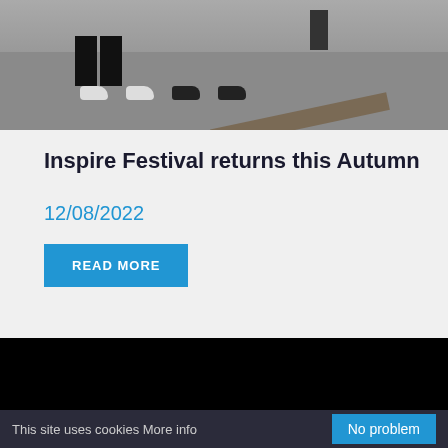[Figure (photo): Photo of people's legs/feet and floor in what appears to be an indoor setting, with a diagonal brown bar/beam visible]
Inspire Festival returns this Autumn
12/08/2022
READ MORE
[Figure (photo): Black rectangle — partially loaded or blank image at bottom of page]
This site uses cookies More info
No problem